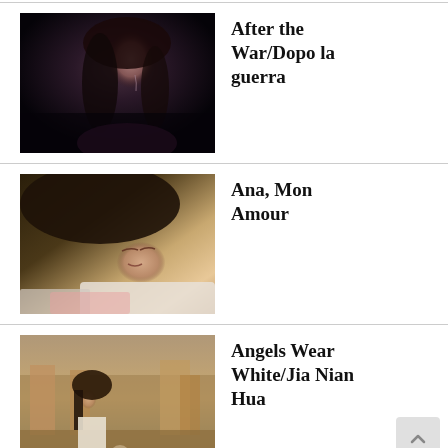[Figure (photo): Film still from 'After the War/Dopo la guerra' showing a young woman with tears on her face in dim lighting]
After the War/Dopo la guerra
[Figure (photo): Film still from 'Ana, Mon Amour' showing a woman with eyes closed lying down, intimate scene]
Ana, Mon Amour
[Figure (photo): Film still from 'Angels Wear White/Jia Nian Hua' showing a young woman outdoors at a scenic location]
Angels Wear White/Jia Nian Hua